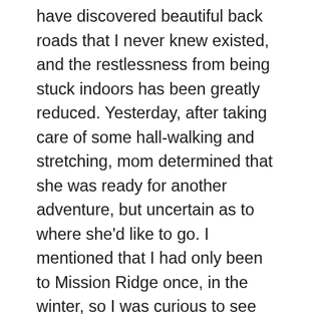have discovered beautiful back roads that I never knew existed, and the restlessness from being stuck indoors has been greatly reduced. Yesterday, after taking care of some hall-walking and stretching, mom determined that she was ready for another adventure, but uncertain as to where she'd like to go. I mentioned that I had only been to Mission Ridge once, in the winter, so I was curious to see the space in the summertime. Mom said it was only a thirty-minute drive each way, so completely doable. We had a destination in mind, so off we went. The sun was shining and the ride along the way was wonderful. Beautiful back roads led the way, as we